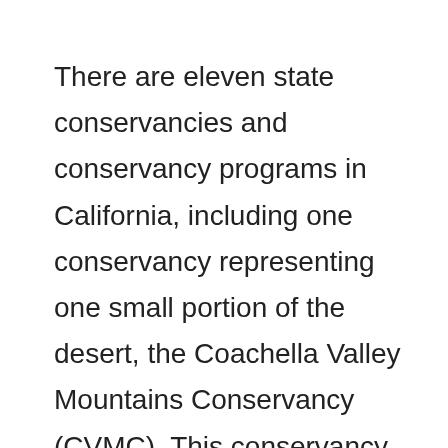There are eleven state conservancies and conservancy programs in California, including one conservancy representing one small portion of the desert, the Coachella Valley Mountains Conservancy (CVMC). This conservancy was formed in 1991 within California's Natural Resources Agency to acquire desert conservation lands in the Coachella Valley area " . . . to provide for the protection of wildlife resources, the public's enjoyment, and the enhancement of recreational and educational experiences consistent with the protection of the land." CVMC has received $83